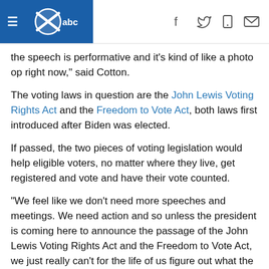KSAT abc navigation header with social icons
the speech is performative and it's kind of like a photo op right now," said Cotton.
The voting laws in question are the John Lewis Voting Rights Act and the Freedom to Vote Act, both laws first introduced after Biden was elected.
If passed, the two pieces of voting legislation would help eligible voters, no matter where they live, get registered and vote and have their vote counted.
"We feel like we don't need more speeches and meetings. We need action and so unless the president is coming here to announce the passage of the John Lewis Voting Rights Act and the Freedom to Vote Act, we just really can't for the life of us figure out what the point is," Cotton said.
She added that the time spent traveling could be used elsewhere.